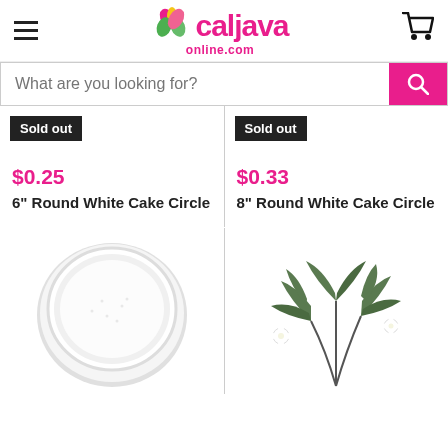[Figure (logo): Caljava Online logo with pink text and flower/leaf icon]
What are you looking for?
Sold out
$0.25
6" Round White Cake Circle
Sold out
$0.33
8" Round White Cake Circle
[Figure (photo): White round powder/sugar container viewed from above]
[Figure (photo): Green sugar/gum paste leaves with small white flowers on stems]